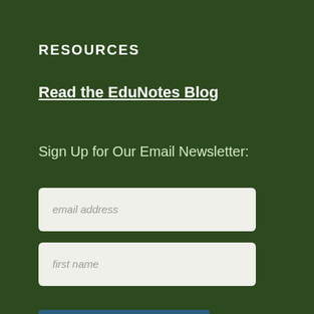RESOURCES
Read the EduNotes Blog
Sign Up for Our Email Newsletter:
email address
first name
SUBMIT